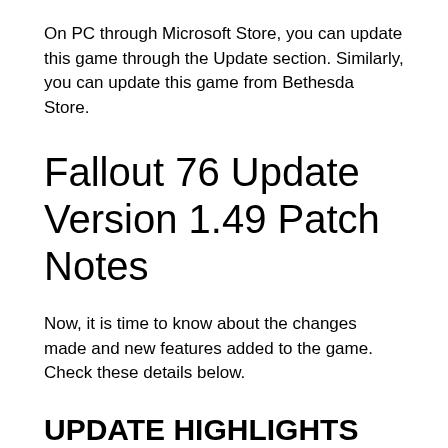On PC through Microsoft Store, you can update this game through the Update section. Similarly, you can update this game from Bethesda Store.
Fallout 76 Update Version 1.49 Patch Notes
Now, it is time to know about the changes made and new features added to the game. Check these details below.
UPDATE HIGHLIGHTS
Store More Stuff!: We've increased the Stash limit to 1,200 pounds so you have even more room for loot.